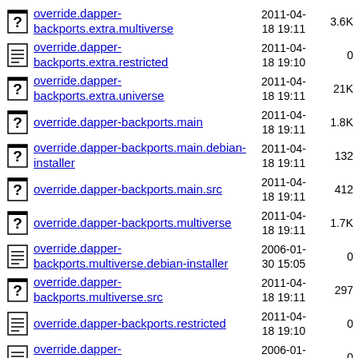override.dapper-backports.extra.multiverse  2011-04-18 19:11  3.6K
override.dapper-backports.extra.restricted  2011-04-18 19:10  0
override.dapper-backports.extra.universe  2011-04-18 19:11  21K
override.dapper-backports.main  2011-04-18 19:11  1.8K
override.dapper-backports.main.debian-installer  2011-04-18 19:11  132
override.dapper-backports.main.src  2011-04-18 19:11  412
override.dapper-backports.multiverse  2011-04-18 19:11  1.7K
override.dapper-backports.multiverse.debian-installer  2006-01-30 15:05  0
override.dapper-backports.multiverse.src  2011-04-18 19:11  297
override.dapper-backports.restricted  2011-04-18 19:10  0
override.dapper-backports.restricted.debian-installer  2006-01-30 15:05  0